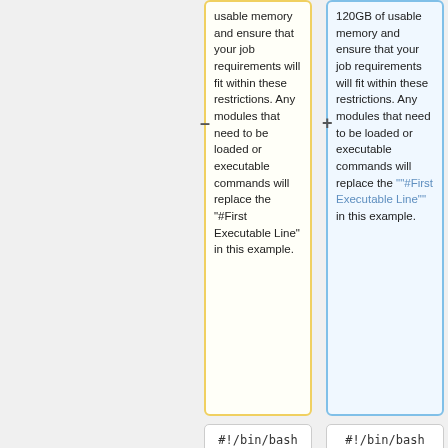usable memory and ensure that your job requirements will fit within these restrictions. Any modules that need to be loaded or executable commands will replace the "#First Executable Line" in this example.
120GB of usable memory and ensure that your job requirements will fit within these restrictions. Any modules that need to be loaded or executable commands will replace the ""#First Executable Line"" in this example.
#!/bin/bash
#!/bin/bash
##ENVIRONMENT SETTINGS; CHANGE WITH
##ENVIRONMENT SETTINGS; CHANGE WITH